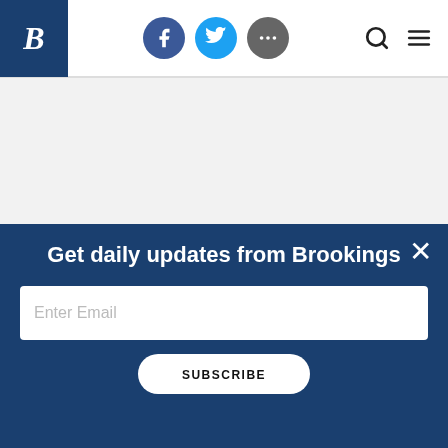Brookings Institution website header with logo, social icons (Facebook, Twitter, more), search and menu icons
RESEARCH
[Figure (photo): Photo of people, dark toned image used as article thumbnail]
MIDDLE EAST & NORTH AFRICA
The dark side of consensus in Tunisia lessons for 2015
Get daily updates from Brookings
Enter Email
SUBSCRIBE